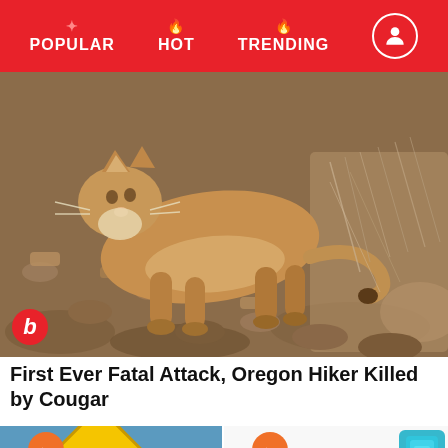POPULAR | HOT | TRENDING
[Figure (photo): A cougar (mountain lion) photographed on rocky, leaf-covered ground. A red circular badge with a lowercase 'b' appears in the lower-left corner of the photo.]
First Ever Fatal Attack, Oregon Hiker Killed by Cougar
[Figure (photo): A yellow diamond-shaped road sign reading 'BUNNIES AT PLAY' against a blue sky. An orange trending badge with a lightning bolt icon overlays the top-left corner.]
[Figure (photo): The Nike logo and swoosh in black on a white background, with a colorful athletic shoe visible in the upper-right corner. An orange trending badge with a lightning bolt icon overlays the top-left corner.]